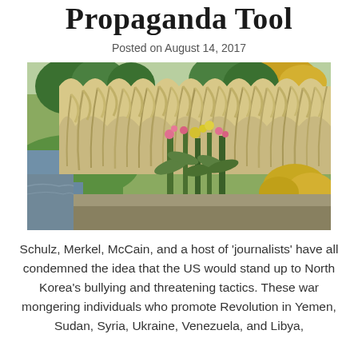Propaganda Tool
Posted on August 14, 2017
[Figure (photo): Outdoor garden scene with tall ornamental grasses (pampas or miscanthus) swaying in the wind, colorful blooming plants including yellow and pink flowers in the foreground, a body of water to the left, green lawn, and trees with autumn foliage in the background.]
Schulz, Merkel, McCain, and a host of 'journalists' have all condemned the idea that the US would stand up to North Korea's bullying and threatening tactics. These war mongering individuals who promote Revolution in Yemen, Sudan, Syria, Ukraine, Venezuela, and Libya,